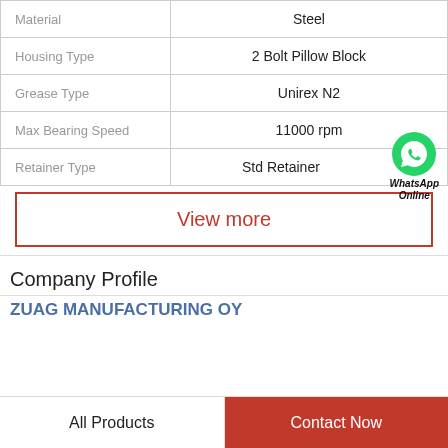| Property | Value |
| --- | --- |
| Material | Steel |
| Housing Type | 2 Bolt Pillow Block |
| Grease Type | Unirex N2 |
| Max Bearing Speed | 11000 rpm |
| Retainer Type | Std Retainer |
View more
Company Profile
ZUAG MANUFACTURING OY
All Products
Contact Now